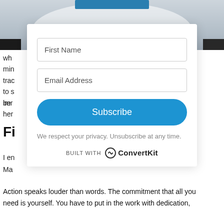[Figure (photo): Partial background photo of a white object (possibly a toilet or porcelain item), mostly obscured by the subscription modal overlay.]
wh
min
trac
to s
imr
be
her
Fi
I en
Ma
Action speaks louder than words. The commitment that all you need is yourself. You have to put in the work with dedication,
[Figure (screenshot): Email subscription modal overlay with First Name field, Email Address field, Subscribe button, privacy note, and ConvertKit branding.]
First Name
Email Address
Subscribe
We respect your privacy. Unsubscribe at any time.
BUILT WITH ConvertKit